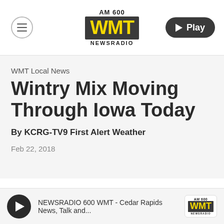[Figure (logo): AM 600 WMT Newsradio logo centered in header with menu icon on left and Play button on right]
WMT Local News
Wintry Mix Moving Through Iowa Today
By KCRG-TV9 First Alert Weather
Feb 22, 2018
NEWSRADIO 600 WMT - Cedar Rapids News, Talk and...